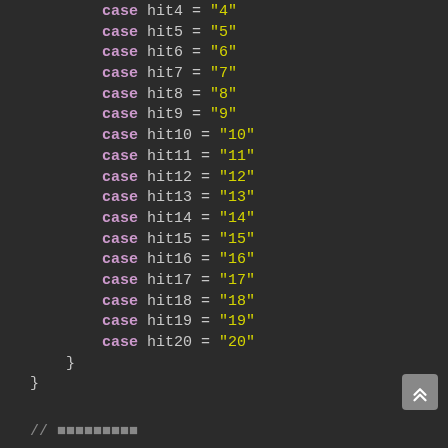case hit4 = "4"
        case hit5 = "5"
        case hit6 = "6"
        case hit7 = "7"
        case hit8 = "8"
        case hit9 = "9"
        case hit10 = "10"
        case hit11 = "11"
        case hit12 = "12"
        case hit13 = "13"
        case hit14 = "14"
        case hit15 = "15"
        case hit16 = "16"
        case hit17 = "17"
        case hit18 = "18"
        case hit19 = "19"
        case hit20 = "20"
    }
}
// ■■■■■■■■■